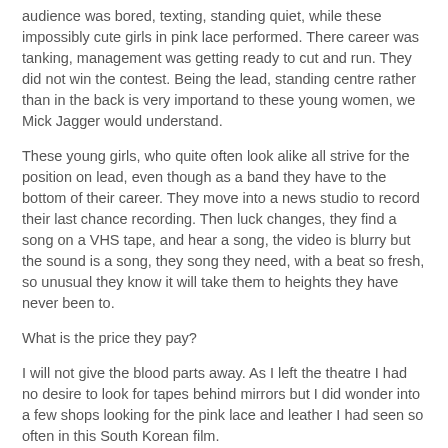audience was bored, texting, standing quiet, while these impossibly cute girls in pink lace performed. There career was tanking, management was getting ready to cut and run. They did not win the contest. Being the lead, standing centre rather than in the back is very importand to these young women, we Mick Jagger would understand.
These young girls, who quite often look alike all strive for the position on lead, even though as a band they have to the bottom of their career. They move into a news studio to record their last chance recording. Then luck changes, they find a song on a VHS tape, and hear a song, the video is blurry but the sound is a song, they song they need, with a beat so fresh, so unusual they know it will take them to heights they have never been to.
What is the price they pay?
I will not give the blood parts away. As I left the theatre I had no desire to look for tapes behind mirrors but I did wonder into a few shops looking for the pink lace and leather I had seen so often in this South Korean film.